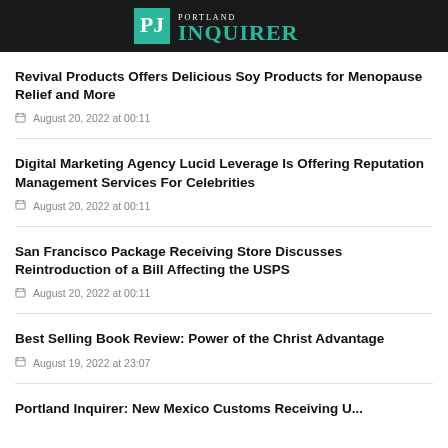Portland Inquirer
Revival Products Offers Delicious Soy Products for Menopause Relief and More
August 20, 2022 at 00:11
Digital Marketing Agency Lucid Leverage Is Offering Reputation Management Services For Celebrities
August 20, 2022 at 00:11
San Francisco Package Receiving Store Discusses Reintroduction of a Bill Affecting the USPS
August 20, 2022 at 00:11
Best Selling Book Review: Power of the Christ Advantage
August 19, 2022 at 23:07
Portland Inquirer: New Mexico Customs Receiving U...